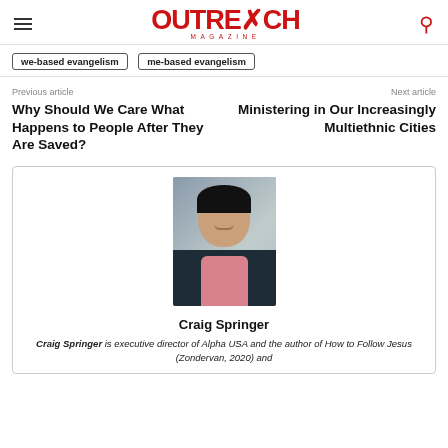Outreach Magazine
we-based evangelism
me-based evangelism
Previous article
Next article
Why Should We Care What Happens to People After They Are Saved?
Ministering in Our Increasingly Multiethnic Cities
[Figure (photo): Headshot of Craig Springer, a man in a dark blazer and pink shirt, smiling, against a blurred grey brick wall background]
Craig Springer
Craig Springer is executive director of Alpha USA and the author of How to Follow Jesus (Zondervan, 2020) and